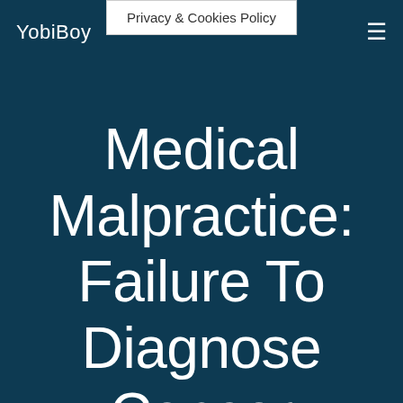YobiBoy
Privacy & Cookies Policy
Medical Malpractice: Failure To Diagnose Cancer 101